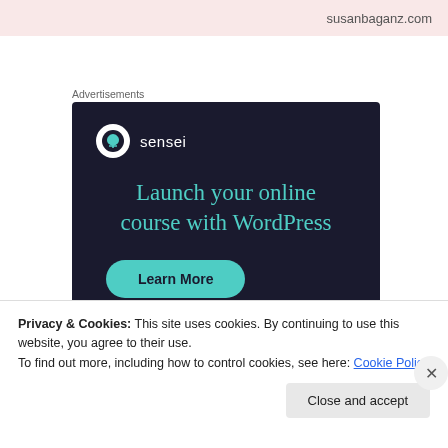susanbaganz.com
Advertisements
[Figure (screenshot): Sensei advertisement on dark navy background. Logo: white circle with tree icon and 'sensei' text. Headline in teal: 'Launch your online course with WordPress'. Teal pill-shaped button: 'Learn More'.]
Privacy & Cookies: This site uses cookies. By continuing to use this website, you agree to their use.
To find out more, including how to control cookies, see here: Cookie Policy
Close and accept